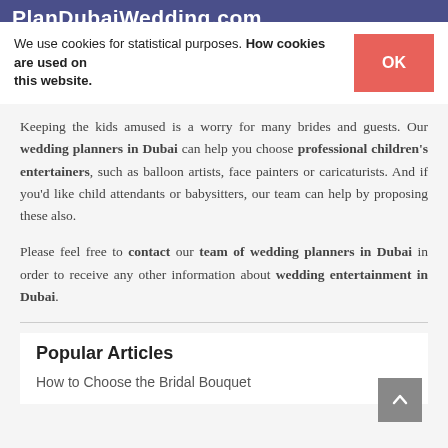PlanDubaiWedding.com
We use cookies for statistical purposes. How cookies are used on this website. OK
Keeping the kids amused is a worry for many brides and guests. Our wedding planners in Dubai can help you choose professional children's entertainers, such as balloon artists, face painters or caricaturists. And if you'd like child attendants or babysitters, our team can help by proposing these also.
Please feel free to contact our team of wedding planners in Dubai in order to receive any other information about wedding entertainment in Dubai.
Popular Articles
How to Choose the Bridal Bouquet